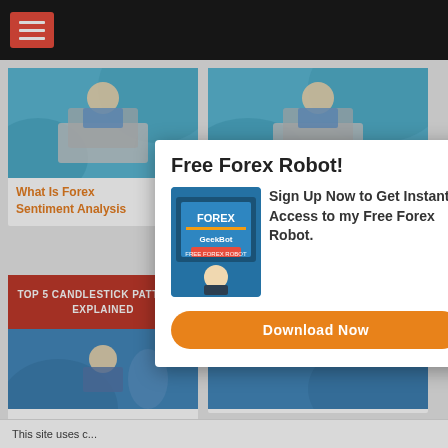Navigation menu bar
[Figure (photo): Card with person at laptop on blue background]
What Is Forex Sentiment Analysis
[Figure (photo): Card with person at laptop on blue background]
5 Factors That Influence Spreads
[Figure (photo): Card with red banner TOP 5 CANDLESTICK PATTERNS EXPLAINED and running figure]
Five Powerful Candlestick ...
[Figure (photo): Card with red banner KELTNER CHANNEL EXPLAINED]
Free Forex Robot!
Sign Up Now to Get Instant Access to my Free Forex Robot.
Download Now
This site uses c...